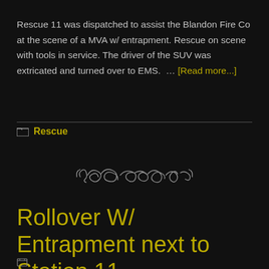Rescue 11 was dispatched to assist the Blandon Fire Co at the scene of a MVA w/ entrapment. Rescue on scene with tools in service. The driver of the SUV was extricated and turned over to EMS.  … [Read more...]
Rescue
[Figure (illustration): Decorative ornamental divider with scrollwork design in grey on black background]
Rollover W/ Entrapment next to Station 11